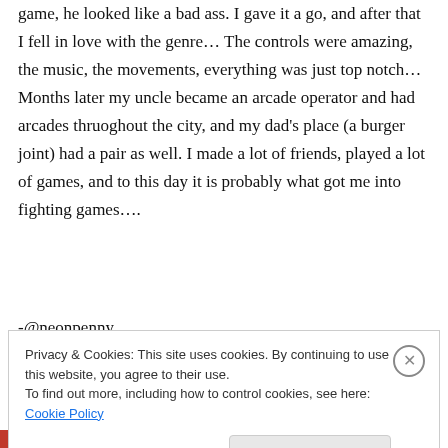game, he looked like a bad ass. I gave it a go, and after that I fell in love with the genre… The controls were amazing, the music, the movements, everything was just top notch… Months later my uncle became an arcade operator and had arcades thruoghout the city, and my dad's place (a burger joint) had a pair as well. I made a lot of friends, played a lot of games, and to this day it is probably what got me into fighting games….
-@neonpenny
Privacy & Cookies: This site uses cookies. By continuing to use this website, you agree to their use.
To find out more, including how to control cookies, see here: Cookie Policy